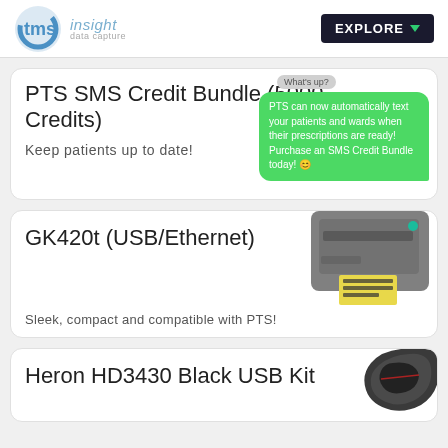[Figure (logo): TMS Insight Data Capture logo with blue crescent circle and tms text]
PTS SMS Credit Bundle (5000 Credits)
Keep patients up to date!
[Figure (screenshot): SMS chat bubble: What's up? / PTS can now automatically text your patients and wards when their prescriptions are ready! Purchase an SMS Credit Bundle today! 😊]
GK420t (USB/Ethernet)
Sleek, compact and compatible with PTS!
[Figure (photo): GK420t thermal label printer, gray color with teal indicator light]
Heron HD3430 Black USB Kit
[Figure (photo): Heron HD3430 barcode scanner, black color, curved shape]